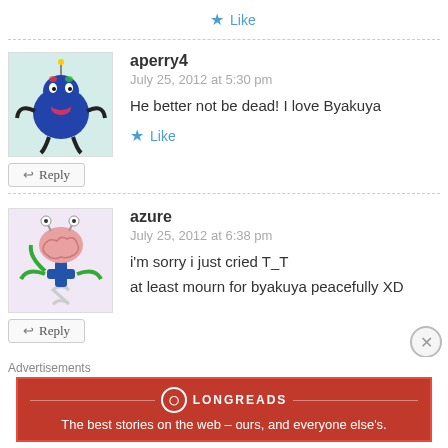★ Like
aperry4
July 25, 2012 at 5:30 pm
He better not be dead! I love Byakuya
↩ Reply
★ Like
azure
July 25, 2012 at 6:38 pm
i'm sorry i just cried T_T
at least mourn for byakuya peacefully XD
↩ Reply
Advertisements
LONGREADS
The best stories on the web – ours, and everyone else's.